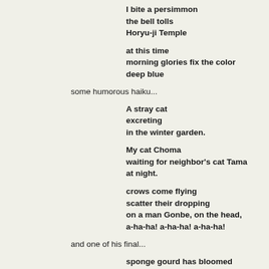I bite a persimmon
the bell tolls
Horyu-ji Temple
at this time
morning glories fix the color
deep blue
some humorous haiku...
A stray cat
excreting
in the winter garden.
My cat Choma
waiting for neighbor's cat Tama
at night.
crows come flying
scatter their dropping
on a man Gonbe, on the head,
a-ha-ha! a-ha-ha! a-ha-ha!
and one of his final...
sponge gourd has bloomed
choked by phlegm
a departed soul
(thanks to Shiki:The Discovery of Haiku) click here for more info: